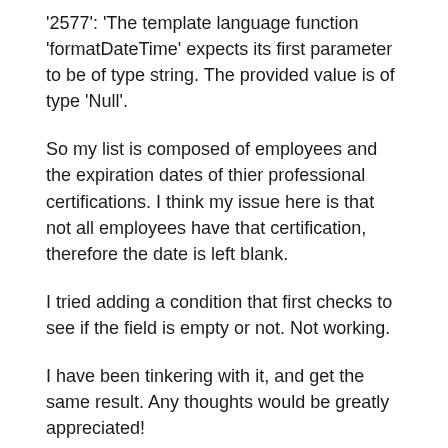'2577': 'The template language function 'formatDateTime' expects its first parameter to be of type string. The provided value is of type 'Null'.
So my list is composed of employees and the expiration dates of thier professional certifications. I think my issue here is that not all employees have that certification, therefore the date is left blank.
I tried adding a condition that first checks to see if the field is empty or not. Not working.
I have been tinkering with it, and get the same result. Any thoughts would be greatly appreciated!
Thanks